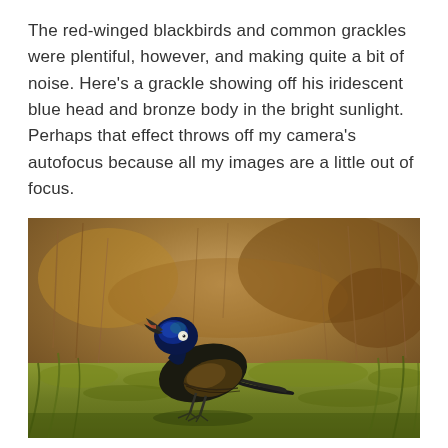The red-winged blackbirds and common grackles were plentiful, however, and making quite a bit of noise. Here's a grackle showing off his iridescent blue head and bronze body in the bright sunlight. Perhaps that effect throws off my camera's autofocus because all my images are a little out of focus.
[Figure (photo): A common grackle bird with iridescent blue head and bronze-black body standing on green grass with dried reeds in the background and a blurred warm brown background suggesting sunlit water or foliage. The bird has its beak open pointing upward and a distinctive pale eye.]